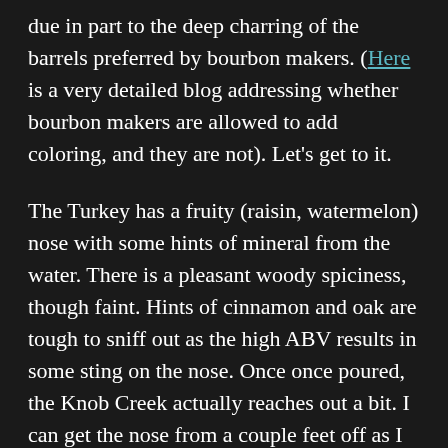due in part to the deep charring of the barrels preferred by bourbon makers. (Here is a very detailed blog addressing whether bourbon makers are allowed to add coloring, and they are not). Let's get to it.
The Turkey has a fruity (raisin, watermelon) nose with some hints of mineral from the water. There is a pleasant woody spiciness, though faint. Hints of cinnamon and oak are tough to sniff out as the high ABV results in some sting on the nose. Once once poured, the Knob Creek actually reaches out a bit. I can get the nose from a couple feet off as I type. KC has a far more balanced nose than the Turkey—it does not have the strong fruity overtones of